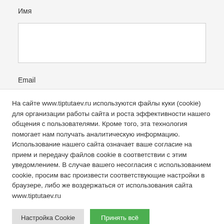Имя
Email
На сайте www.tiptutaev.ru используются файлы куки (cookie) для организации работы сайта и роста эффективности нашего общения с пользователями. Кроме того, эта технология помогает нам получать аналитическую информацию. Использование нашего сайта означает ваше согласие на прием и передачу файлов cookie в соответствии с этим уведомлением. В случае вашего несогласия с использованием cookie, просим вас произвести соответствующие настройки в браузере, либо же воздержаться от использования сайта www.tiptutaev.ru
Настройка Cookie
Принять всё